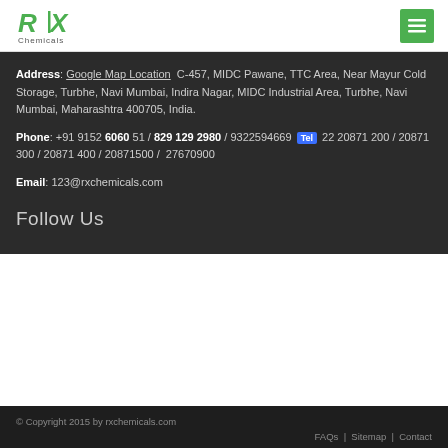[Figure (logo): RX Chemicals logo with green text and 'Chemicals' subtitle]
Address: Google Map Location  C-457, MIDC Pawane, TTC Area, Near Mayur Cold Storage, Turbhe, Navi Mumbai, Indira Nagar, MIDC Industrial Area, Turbhe, Navi Mumbai, Maharashtra 400705, India.
Phone: +91 9152 6060 51 / 829 129 2980 / 9322594669 Tel  22 20871200 / 20871300 / 20871400 / 20871500 /  27670900
Email: 123@rxchemicals.com
Follow Us
© Copyright 2015 by rxchemicals.com
FAQs  |  Sitemap  |  Contact